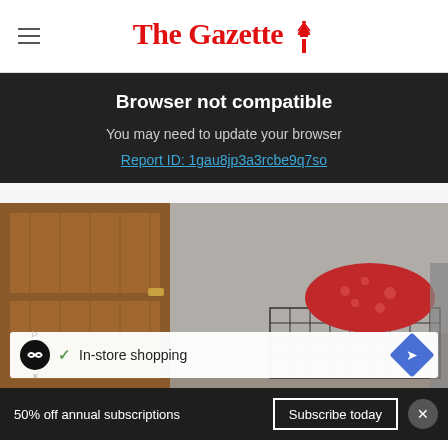The Gazette
Browser not compatible
You may need to update your browser
Report ID: 1gau8jp3a3rcbe9q7so
[Figure (photo): Interior scene showing a wooden door on the left and a pet in a wire crate covered with a red patterned blanket on the right, viewed from above.]
In-store shopping
50% off annual subscriptions  Subscribe today